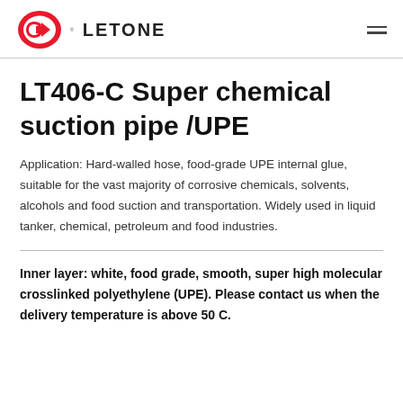LETONE
LT406-C Super chemical suction pipe /UPE
Application: Hard-walled hose, food-grade UPE internal glue, suitable for the vast majority of corrosive chemicals, solvents, alcohols and food suction and transportation. Widely used in liquid tanker, chemical, petroleum and food industries.
Inner layer: white, food grade, smooth, super high molecular crosslinked polyethylene (UPE). Please contact us when the delivery temperature is above 50 C.